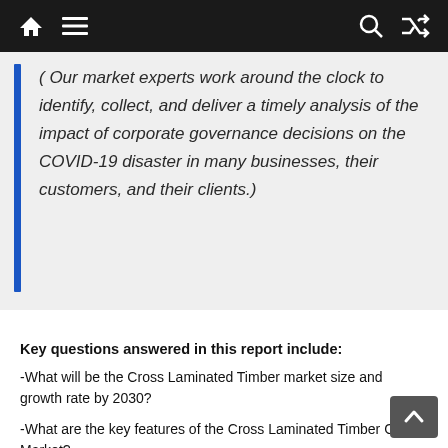( Our market experts work around the clock to identify, collect, and deliver a timely analysis of the impact of corporate governance decisions on the COVID-19 disaster in many businesses, their customers, and their clients.)
Key questions answered in this report include:
-What will be the Cross Laminated Timber market size and growth rate by 2030?
-What are the key features of the Cross Laminated Timber Global Market?